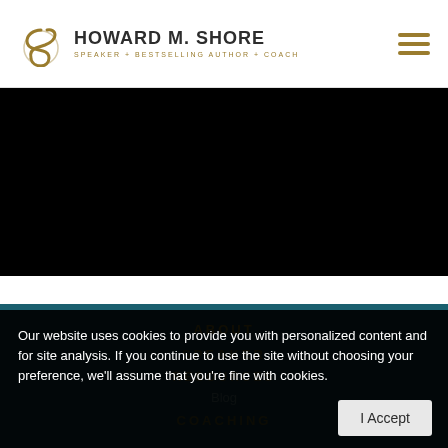HOWARD M. SHORE SPEAKER + BESTSELLING AUTHOR + COACH
[Figure (other): Black background area representing an embedded video or hero image area]
ABOUT
SPEAKER
RESOURCES
Blog
COACHING
Our website uses cookies to provide you with personalized content and for site analysis. If you continue to use the site without choosing your preference, we'll assume that you're fine with cookies.
I Accept